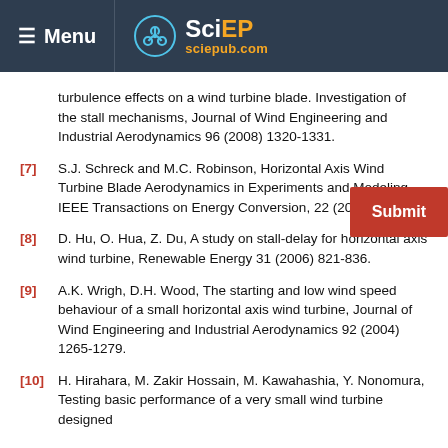Menu | SciEP sciepub.com
turbulence effects on a wind turbine blade. Investigation of the stall mechanisms, Journal of Wind Engineering and Industrial Aerodynamics 96 (2008) 1320-1331.
[7] S.J. Schreck and M.C. Robinson, Horizontal Axis Wind Turbine Blade Aerodynamics in Experiments and Modeling, IEEE Transactions on Energy Conversion, 22 (2007) 61-70.
[8] D. Hu, O. Hua, Z. Du, A study on stall-delay for horizontal axis wind turbine, Renewable Energy 31 (2006) 821-836.
[9] A.K. Wrigh, D.H. Wood, The starting and low wind speed behaviour of a small horizontal axis wind turbine, Journal of Wind Engineering and Industrial Aerodynamics 92 (2004) 1265-1279.
[10] H. Hirahara, M. Zakir Hossain, M. Kawahashia, Y. Nonomura, Testing basic performance of a very small wind turbine designed